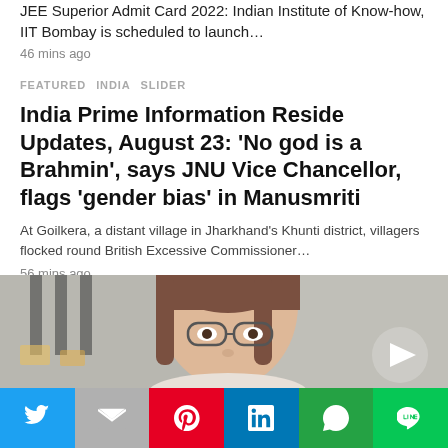JEE Superior Admit Card 2022: Indian Institute of Know-how, IIT Bombay is scheduled to launch…
46 mins ago
FEATURED   INDIA   SLIDER
India Prime Information Reside Updates, August 23: 'No god is a Brahmin', says JNU Vice Chancellor, flags 'gender bias' in Manusmriti
At Goilkera, a distant village in Jharkhand's Khunti district, villagers flocked round British Excessive Commissioner…
56 mins ago
[Figure (photo): Photo of a woman with glasses and brown hair, partial face visible. A white play/navigation triangle button is visible on the right side.]